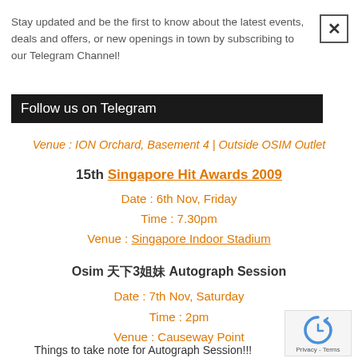Stay updated and be the first to know about the latest events, deals and offers, or new openings in town by subscribing to our Telegram Channel!
Follow us on Telegram
Venue : ION Orchard, Basement 4 | Outside OSIM Outlet
15th Singapore Hit Awards 2009
Date : 6th Nov, Friday
Time : 7.30pm
Venue : Singapore Indoor Stadium
Osim &#x5929;&#x4e0b;3&#x59d0;&#x59b9; Autograph Session
Date : 7th Nov, Saturday
Time : 2pm
Venue : Causeway Point
Things to take note for Autograph Session!!!